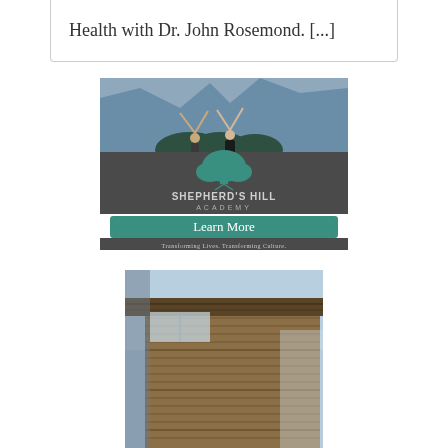Health with Dr. John Rosemond. [...]
[Figure (illustration): Shepherd's Hill Academy advertisement showing two people with arms raised outdoors, with a teal tree logo, 'Learn More' button, and tagline 'Transforming Lives. Transforming Culture.']
[Figure (photo): Exterior photograph of a modern wooden building with horizontal slat cladding against a blue sky.]